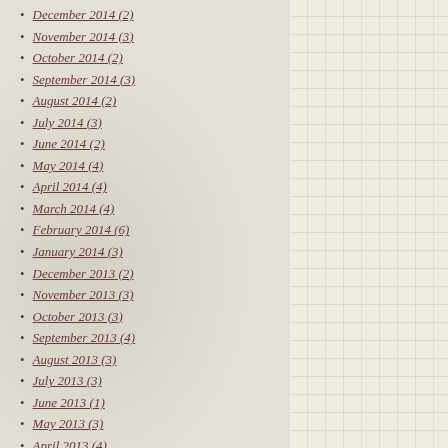December 2014 (2)
November 2014 (3)
October 2014 (2)
September 2014 (3)
August 2014 (2)
July 2014 (3)
June 2014 (2)
May 2014 (4)
April 2014 (4)
March 2014 (4)
February 2014 (6)
January 2014 (3)
December 2013 (2)
November 2013 (3)
October 2013 (3)
September 2013 (4)
August 2013 (3)
July 2013 (3)
June 2013 (1)
May 2013 (3)
April 2013 (4)
March 2013 (5)
February 2013 (3)
January 2013 (2)
December 2012 (3)